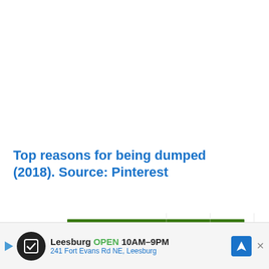Top reasons for being dumped (2018). Source: Pinterest
[Figure (bar-chart): Top reasons for being dumped (2018). Source: Pinterest]